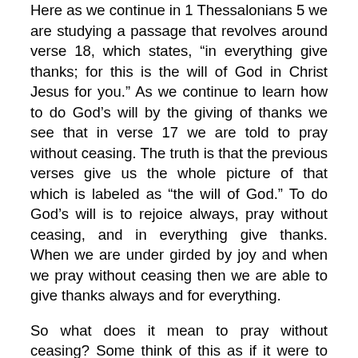Here as we continue in 1 Thessalonians 5 we are studying a passage that revolves around verse 18, which states, “in everything give thanks; for this is the will of God in Christ Jesus for you.” As we continue to learn how to do God’s will by the giving of thanks we see that in verse 17 we are told to pray without ceasing. The truth is that the previous verses give us the whole picture of that which is labeled as “the will of God.” To do God’s will is to rejoice always, pray without ceasing, and in everything give thanks. When we are under girded by joy and when we pray without ceasing then we are able to give thanks always and for everything.
So what does it mean to pray without ceasing? Some think of this as if it were to always have our heads bowed and eyes closed with folded hands talking to God. But this proves a basic misunderstanding of prayer. Prayer is communion. It is communication, and communication has